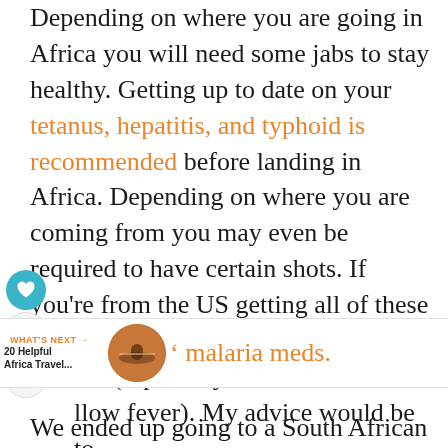Depending on where you are going in Africa you will need some jabs to stay healthy. Getting up to date on your tetanus, hepatitis, and typhoid is recommended before landing in Africa. Depending on where you are coming from you may even be required to have certain shots. If you're from the US getting all of these shots are not a cheap trip to the doctors (especially for yellow fever). My advice would be to wait until you get to Africa to get your malaria meds.
We ended up going to a South African